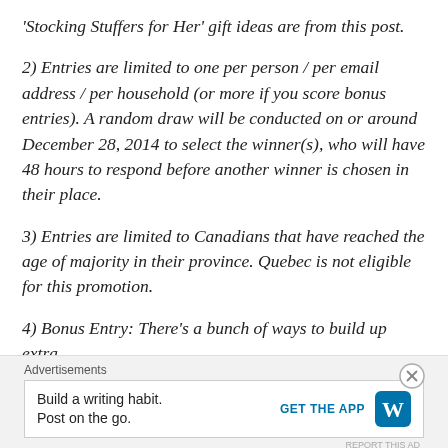'Stocking Stuffers for Her' gift ideas are from this post.
2) Entries are limited to one per person / per email address / per household (or more if you score bonus entries). A random draw will be conducted on or around December 28, 2014 to select the winner(s), who will have 48 hours to respond before another winner is chosen in their place.
3) Entries are limited to Canadians that have reached the age of majority in their province. Quebec is not eligible for this promotion.
4) Bonus Entry: There’s a bunch of ways to build up extra
Advertisements
Build a writing habit. Post on the go.
GET THE APP
REPORT THIS AD